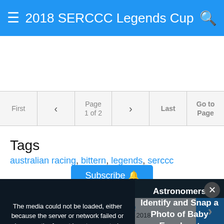2018 SERCCC Legends Cup
Tags
australian racing, bittern, legends, serccc
Subscribe
[Figure (screenshot): Media player overlay showing error message: The media could not be loaded, either because the server or network failed or because the format is not supported. Right panel shows text: Astronomers Identify and Snap a Photo of Baby Exoplanet]
View Next Unread
Enduro Masters 17-18 march 2018